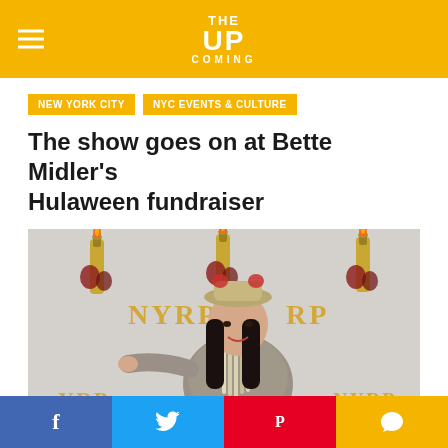THE UP COMING
NEW YORK CITY
NYC EVENTS & CULTURE
The show goes on at Bette Midler's Hulaween fundraiser
[Figure (photo): Bette Midler in costume at the NYRP Hulaween fundraiser event, wearing a feathered hat and long beaded necklaces in front of an NYRP branded backdrop with oversized champagne bottle decorations.]
f  Twitter  Pinterest  Comment